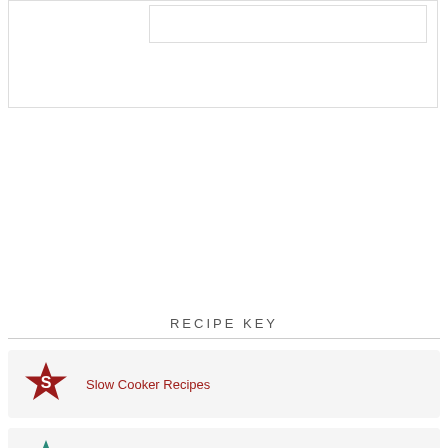[Figure (other): Top bordered box area, partially visible at top of page]
RECIPE KEY
[Figure (infographic): Recipe key entry: red star with S, Slow Cooker Recipes]
[Figure (infographic): Recipe key entry: teal star with I, Instant Pot Recipes]
[Figure (infographic): Recipe key entry: pink star with A, Air Fryer Recipes]
[Figure (infographic): Recipe key entry: olive/yellow star, partially visible]
[Figure (other): Advertisement banner: Back To School Essentials, Leesburg Premium Outlets]